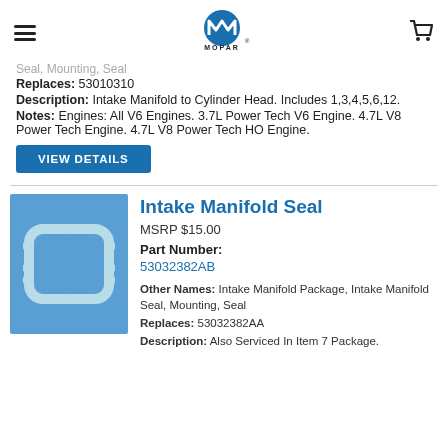MOPAR (logo with hamburger menu and cart icon)
Seal, Mounting, Seal
Replaces: 53010310
Description: Intake Manifold to Cylinder Head. Includes 1,3,4,5,6,12.
Notes: Engines: All V6 Engines. 3.7L Power Tech V6 Engine. 4.7L V8 Power Tech Engine. 4.7L V8 Power Tech HO Engine.
VIEW DETAILS
[Figure (photo): Photo of an Intake Manifold Seal (rectangular rubber seal with rounded corners and notched edges, shown on a blue background)]
Intake Manifold Seal
MSRP $15.00
Part Number:
53032382AB
Other Names: Intake Manifold Package, Intake Manifold Seal, Mounting, Seal
Replaces: 53032382AA
Description: Also Serviced In Item 7 Package.